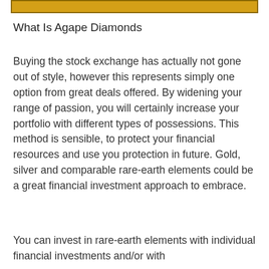[Figure (other): Gold/amber colored banner bar with dark border at top of page]
What Is Agape Diamonds
Buying the stock exchange has actually not gone out of style, however this represents simply one option from great deals offered. By widening your range of passion, you will certainly increase your portfolio with different types of possessions. This method is sensible, to protect your financial resources and use you protection in future. Gold, silver and comparable rare-earth elements could be a great financial investment approach to embrace.
You can invest in rare-earth elements with individual financial investments and/or with